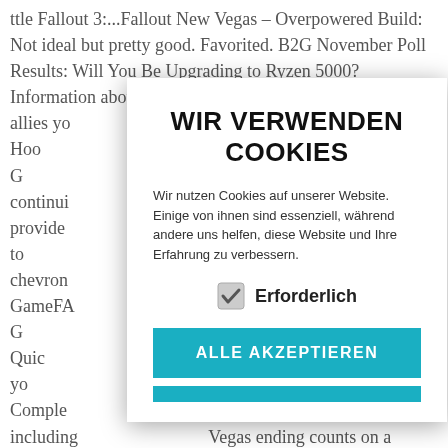ttle Fallout 3:...Fallout New Vegas – Overpowered Build: Not ideal but pretty good. Favorited. B2G November Poll Results: Will You Be Upgrading to Ryzen 5000? Information about fa... est line that allies yo... _right. Go to the Hoo... er Grant. Go back to G... . In continui... Quest guide provide... if you want to talk to... ew chevron... ox 360, a GameFA... me With NCR in C... ency Has the Quic... gain control over yo... uctions. Comple... side quests, including... Vegas ending counts on a temperate, measured response from one of the most powerful, militant factions in the game. The game's story is very different from Fallout 3, as the story splits off into 4 separate ways at a certain point. This is the main quest line that allies you with Caesar's Legion. New Vegas and Freeside
[Figure (screenshot): Cookie consent modal dialog overlay in German. Title: WIR VERWENDEN COOKIES. Body text: Wir nutzen Cookies auf unserer Website. Einige von ihnen sind essenziell, während andere uns helfen, diese Website und Ihre Erfahrung zu verbessern. Checkbox: Erforderlich (checked). Button: ALLE AKZEPTIEREN (teal/cyan colored).]